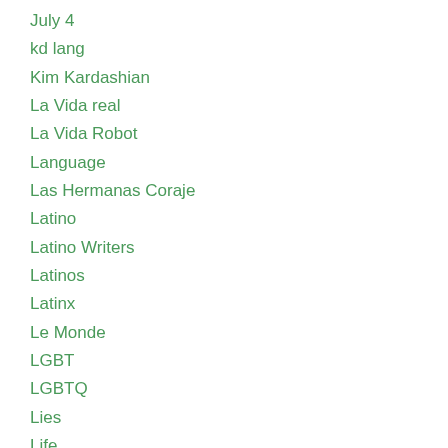July 4
kd lang
Kim Kardashian
La Vida real
La Vida Robot
Language
Las Hermanas Coraje
Latino
Latino Writers
Latinos
Latinx
Le Monde
LGBT
LGBTQ
Lies
Life
Life is Art
Life Lessons